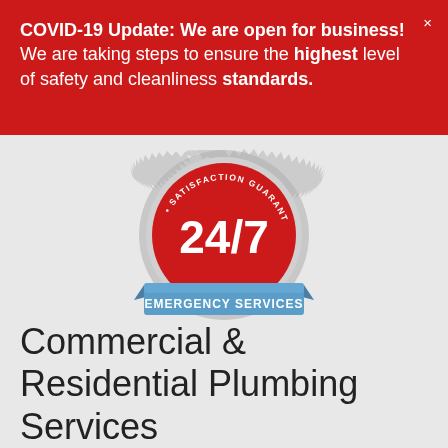COVID-19 Update: We are open for business! We are taking steps to ensure the highest level of safety and cleanliness standards.
[Figure (logo): Circular red badge with serrated edge reading 'SATISFACTION GUARANTEED' around outer ring, '24/7' in large white text in center, and a blue ribbon banner at the bottom reading 'EMERGENCY SERVICES']
Commercial & Residential Plumbing Services